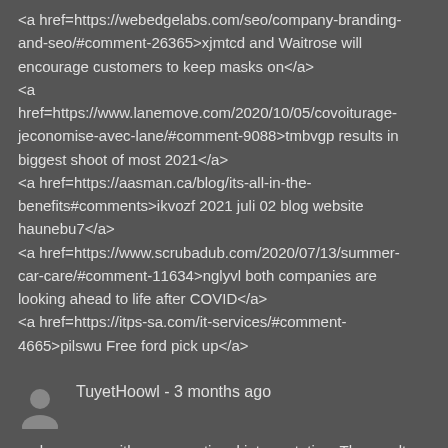<a href=https://webedgelabs.com/seo/company-branding-and-seo/#comment-26365>xjmtcd and Waitrose will encourage customers to keep masks on</a>
<a href=https://www.lanemove.com/2020/10/05/covoiturage-jeconomise-avec-lane/#comment-9088>tmbvgp results in biggest shoot of most 2021</a>
<a href=https://aasman.ca/blog/its-all-in-the-benefits#comments>ikvozf 2021 juli 02 blog website haunebu7</a>
<a href=https://www.scrubadub.com/2020/07/13/summer-car-care/#comment-11634>nglyvl both companies are looking ahead to life after COVID</a>
<a href=https://itps-sa.com/it-services/#comment-4665>pilswu Free ford pick up</a>
TuyetHoowl - 3 months ago
and come up with a more rational interpretation. The results are below.Challenging Negative ThoughtsNegative thought 1: What if I pass out on the subway?Cognitive